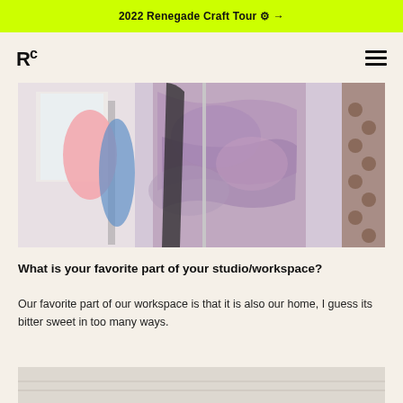2022 Renegade Craft Tour ⚙ →
Rc
[Figure (photo): Close-up photo of colorful garments hanging on a clothing rack, including a purple/mauve tie-dye or watercolor-effect sleeveless top in the foreground, with other clothes visible behind it in a studio/home workspace setting.]
What is your favorite part of your studio/workspace?
Our favorite part of our workspace is that it is also our home, I guess its bitter sweet in too many ways.
[Figure (photo): Partial view of another photo showing what appears to be a light-colored room or workspace, partially cut off at the bottom of the page.]